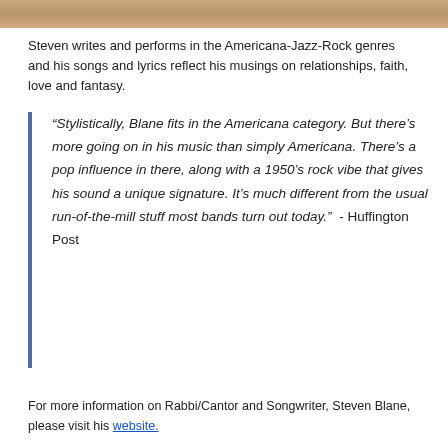[Figure (photo): Partial photo strip at top of page showing warm-toned image]
Steven writes and performs in the Americana-Jazz-Rock genres and his songs and lyrics reflect his musings on relationships, faith, love and fantasy.
"Stylistically, Blane fits in the Americana category. But there’s more going on in his music than simply Americana. There’s a pop influence in there, along with a 1950’s rock vibe that gives his sound a unique signature. It’s much different from the usual run-of-the-mill stuff most bands turn out today."  - Huffington Post
For more information on Rabbi/Cantor and Songwriter, Steven Blane, please visit his website.